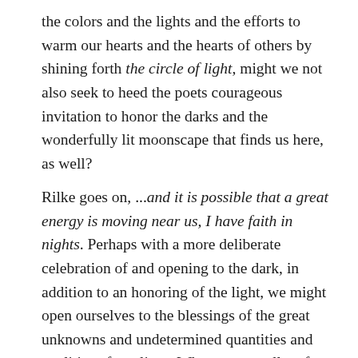the colors and the lights and the efforts to warm our hearts and the hearts of others by shining forth the circle of light, might we not also seek to heed the poets courageous invitation to honor the darks and the wonderfully lit moonscape that finds us here, as well?
Rilke goes on, ...and it is possible that a great energy is moving near us, I have faith in nights. Perhaps with a more deliberate celebration of and opening to the dark, in addition to an honoring of the light, we might open ourselves to the blessings of the great unknowns and undetermined quantities and qualities of our lives. When we can allow for a space in which